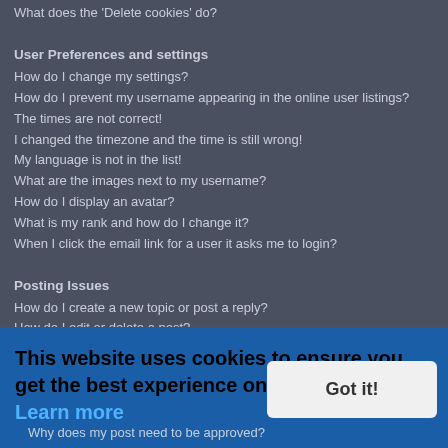What does the 'Delete cookies' do?
User Preferences and settings
How do I change my settings?
How do I prevent my username appearing in the online user listings?
The times are not correct!
I changed the timezone and the time is still wrong!
My language is not in the list!
What are the images next to my username?
How do I display an avatar?
What is my rank and how do I change it?
When I click the email link for a user it asks me to login?
Posting Issues
How do I create a new topic or post a reply?
How do I edit or delete a post?
How do I add a signature to my post?
How do I create a poll?
Why can't I access a forum?
Why can't I add attachments?
Why did I receive a warning?
How can I report posts to a moderator?
What is the "Save" button for in topic posting?
Why does my post need to be approved?
This website uses cookies to ensure you get the best experience on our website. Learn more
Got it!